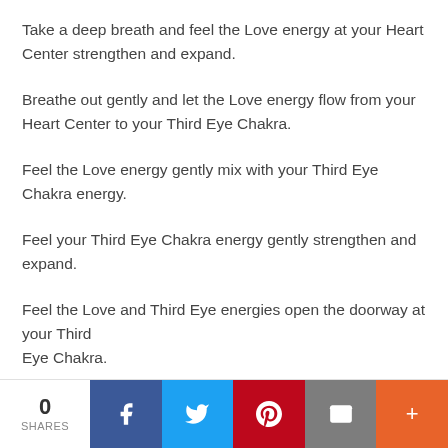Take a deep breath and feel the Love energy at your Heart Center strengthen and expand.
Breathe out gently and let the Love energy flow from your Heart Center to your Third Eye Chakra.
Feel the Love energy gently mix with your Third Eye Chakra energy.
Feel your Third Eye Chakra energy gently strengthen and expand.
Feel the Love and Third Eye energies open the doorway at your Third Eye Chakra.
As the doorway opens, let the Divine Love guide and assist you as
[Figure (infographic): Social share bar with 0 shares count, and buttons for Facebook, Twitter, Pinterest, Email, and More]